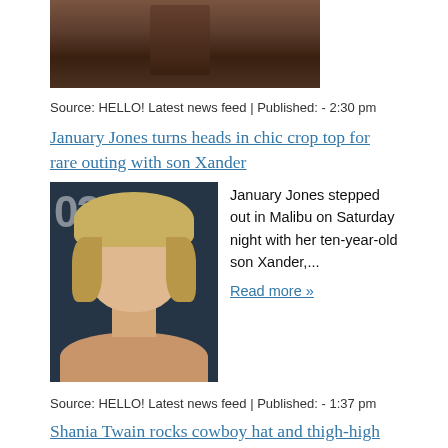[Figure (photo): Partial photo of a person in a brown leather jacket, cropped at top]
Source: HELLO! Latest news feed | Published: - 2:30 pm
January Jones turns heads in chic crop top for rare outing with son Xander
[Figure (photo): Photo of January Jones, a blonde woman smiling, at an event with '021' visible in the background]
January Jones stepped out in Malibu on Saturday night with her ten-year-old son Xander,...
Read more »
Source: HELLO! Latest news feed | Published: - 1:37 pm
Shania Twain rocks cowboy hat and thigh-high